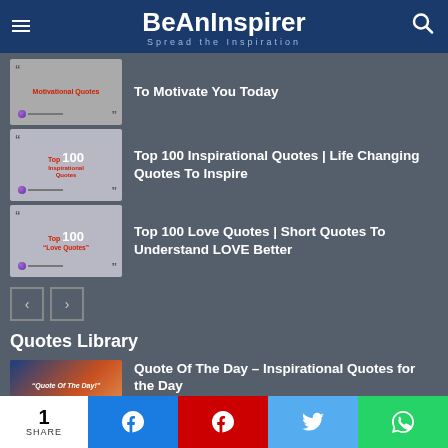BeAnInspirer – Spread the Inspiration
To Motivate You Today
Top 100 Inspirational Quotes | Life Changing Quotes To Inspire
Top 100 Love Quotes | Short Quotes To Understand LOVE Better
Quotes Library
Quote Of The Day – Inspirational Quotes for the Day